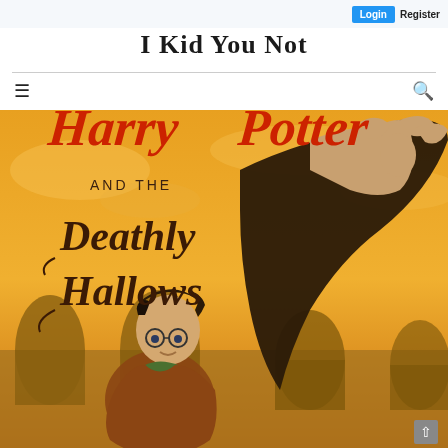Login  Register
I Kid You Not
[Figure (illustration): Harry Potter and the Deathly Hallows book cover showing Harry Potter with glasses and a dark cloaked figure with an outstretched hand against an orange sky with castle arches]
[Figure (other): Scroll-to-top arrow button in bottom right corner]